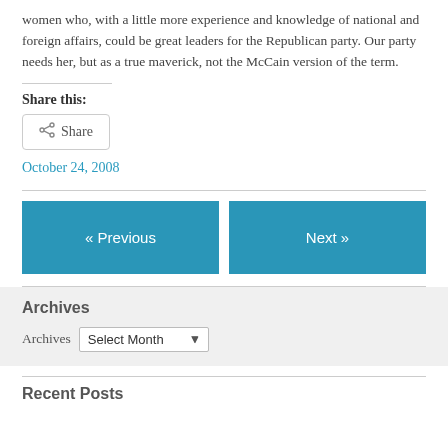women who, with a little more experience and knowledge of national and foreign affairs, could be great leaders for the Republican party. Our party needs her, but as a true maverick, not the McCain version of the term.
Share this:
[Figure (other): Share button with share icon]
October 24, 2008
« Previous
Next »
Archives
Archives  Select Month
Recent Posts